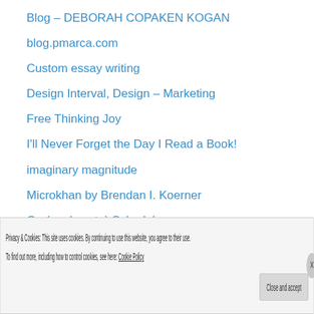Blog – DEBORAH COPAKEN KOGAN
blog.pmarca.com
Custom essay writing
Design Interval, Design – Marketing
Free Thinking Joy
I'll Never Forget the Day I Read a Book!
imaginary magnitude
Microkhan by Brendan I. Koerner
On (or close to) Schedule
red Ravine
Rob's Megaphone
Security for idiots
Tropophilia
Privacy & Cookies: This site uses cookies. By continuing to use this website, you agree to their use. To find out more, including how to control cookies, see here: Cookie Policy
Close and accept